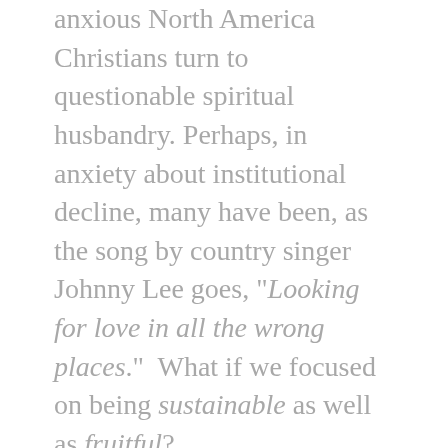anxious North America Christians turn to questionable spiritual husbandry. Perhaps, in anxiety about institutional decline, many have been, as the song by country singer Johnny Lee goes, "Looking for love in all the wrong places." What if we focused on being sustainable as well as fruitful?
Recently a pastor friend of a large church put the challenge succinctly, "Programs that attracted people two years ago, pre-pandemic, are no longer effective. Expectations and attention spans shift month to month. There can be a constant